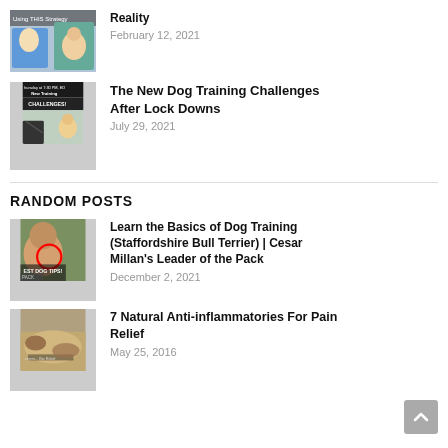[Figure (photo): Thumbnail image of dog training video with text 'Using THIS Strategy']
Reality
February 12, 2021
[Figure (photo): Thumbnail image with text 'hursday at 7:30 PM, ED New Training CHALLENGES!']
The New Dog Training Challenges After Lock Downs
July 29, 2021
RANDOM POSTS
[Figure (photo): Thumbnail image of Cesar Millan with text 'EST DOG TIPS!' and 'PACK']
Learn the Basics of Dog Training (Staffordshire Bull Terrier) | Cesar Millan's Leader of the Pack
December 2, 2021
[Figure (photo): Thumbnail image of a dog lying down with text overlay]
7 Natural Anti-inflammatories For Pain Relief
May 25, 2016